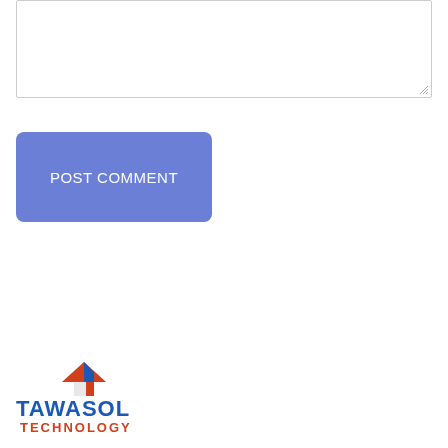[Figure (screenshot): Text area input box with resize handle at bottom right]
POST COMMENT
[Figure (logo): Tawasol Technology logo with orange and blue text and arrow icon]